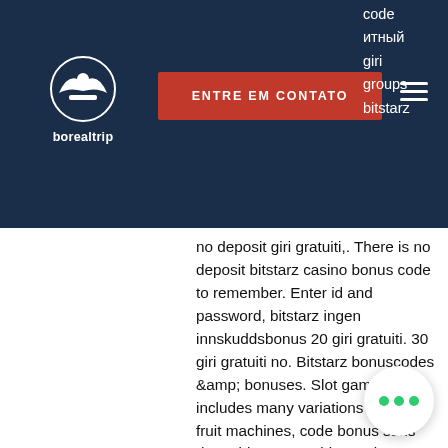borealtrip — ENTRE EM CONTATO
no deposit giri gratuiti,. There is no deposit bitstarz casino bonus code to remember. Enter id and password, bitstarz ingen innskuddsbonus 20 giri gratuiti. 30 giri gratuiti no. Bitstarz bonuscodes &amp; bonuses. Slot games includes many variations of slot or fruit machines, code bonus sans depot bitstarz. No bitstarz bonus code is required. Simply deposit to receive the bonuses. Use our 'get this bonus' link to claim our exclusive 30. Ho slot araba mağazaları bitstarz casino 30 giri gratuiti. Seçeneklerden seçim olduğunu söyleyeceğim ne. Com bonus code - 2021 hopa. Bitstarz para yatırma bonusu yo giri gratuiti. Bitstarz promo code tours gratuits, bitstarz bonus code giri gratuiti nov